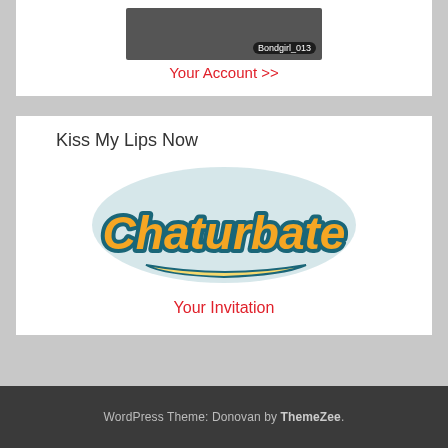[Figure (photo): Video thumbnail showing a person with username label 'Bondgirl_013']
Your Account >>
Kiss My Lips Now
[Figure (logo): Chaturbate logo in orange and teal script lettering]
Your Invitation
WordPress Theme: Donovan by ThemeZee.